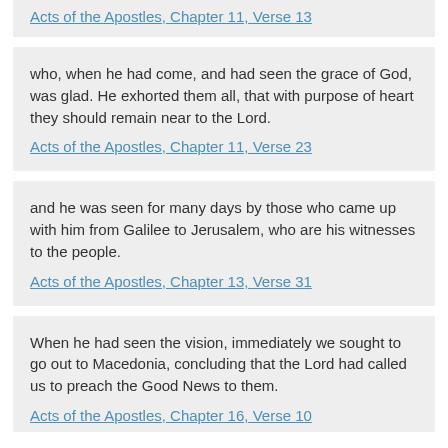Acts of the Apostles, Chapter 11, Verse 13
who, when he had come, and had seen the grace of God, was glad. He exhorted them all, that with purpose of heart they should remain near to the Lord.
Acts of the Apostles, Chapter 11, Verse 23
and he was seen for many days by those who came up with him from Galilee to Jerusalem, who are his witnesses to the people.
Acts of the Apostles, Chapter 13, Verse 31
When he had seen the vision, immediately we sought to go out to Macedonia, concluding that the Lord had called us to preach the Good News to them.
Acts of the Apostles, Chapter 16, Verse 10